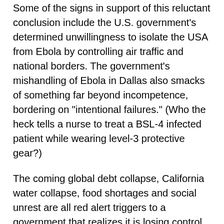Some of the signs in support of this reluctant conclusion include the U.S. government's determined unwillingness to isolate the USA from Ebola by controlling air traffic and national borders. The government's mishandling of Ebola in Dallas also smacks of something far beyond incompetence, bordering on "intentional failures." (Who the heck tells a nurse to treat a BSL-4 infected patient while wearing level-3 protective gear?)
The coming global debt collapse, California water collapse, food shortages and social unrest are all red alert triggers to a government that realizes it is losing control of the population. From the point of view of a totalitarian government, a deadly Ebola outbreak solves many problems all at once: it reduces the number of so-called "useless eaters" who tend to riot in the streets, it puts the government in an immediate position of medical martial law, and it allows the government to present itself as the savior